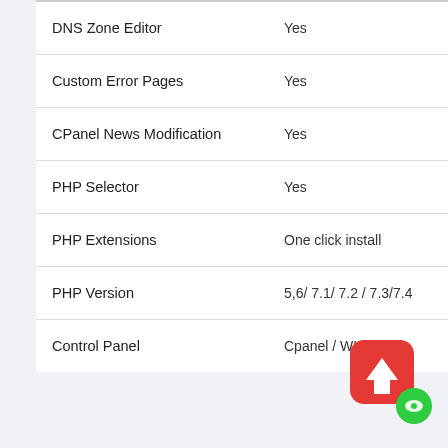| Feature | Plan A | Plan B |
| --- | --- | --- |
| DNS Zone Editor | Yes | Yes |
| Custom Error Pages | Yes | Yes |
| CPanel News Modification | Yes | Yes |
| PHP Selector | Yes | Yes |
| PHP Extensions | One click install | One click install |
| PHP Version | 5,6/ 7.1/ 7.2 / 7.3/7.4 | 5,6/ 7.1/ 7.2 / |
| Control Panel | Cpanel / WHM | Cpanel / W |
[Figure (other): Red rounded square scroll-to-top button with white upward arrow icon, with a green chat circle button overlapping bottom-right]